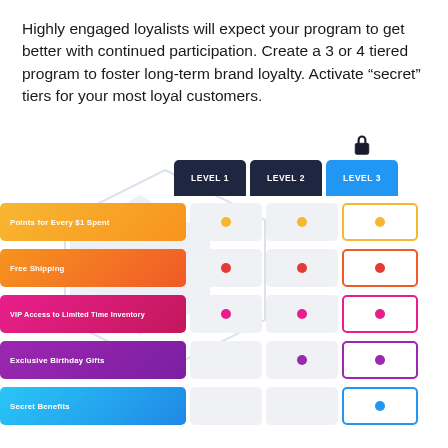Highly engaged loyalists will expect your program to get better with continued participation. Create a 3 or 4 tiered program to foster long-term brand loyalty. Activate “secret” tiers for your most loyal customers.
[Figure (infographic): A tiered loyalty program comparison table showing 3 levels (Level 1, Level 2, Level 3) across 5 benefit rows: Points for Every $1 Spent, Free Shipping, VIP Access to Limited Time Inventory, Exclusive Birthday Gifts, Secret Benefits. Level 3 column is highlighted in blue with an unlocked padlock icon. Hexagon shapes appear in the background behind the table.]